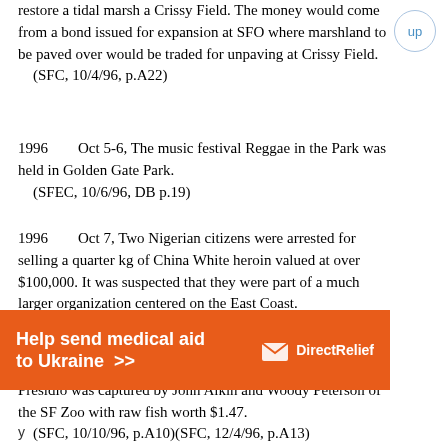restore a tidal marsh a Crissy Field. The money would come from a bond issued for expansion at SFO where marshland to be paved over would be traded for unpaving at Crissy Field.
    (SFC, 10/4/96, p.A22)
1996        Oct 5-6, The music festival Reggae in the Park was held in Golden Gate Park.
    (SFEC, 10/6/96, DB p.19)
1996        Oct 7, Two Nigerian citizens were arrested for selling a quarter kg of China White heroin valued at over $100,000. It was suspected that they were part of a much larger organization centered on the East Coast.
    (SFC, 10/11/96, p.A16)
1996        Oct 8, The little alligator in Mountain Lake in the Presidio was captured by John Aikin and Woody Peterson of the SF Zoo with raw fish worth $1.47.
    (SFC, 10/10/96, p.A10)(SFC, 12/4/96, p.A13)
[Figure (other): Advertisement banner: 'Help send medical aid to Ukraine >>' with Direct Relief logo on orange background]